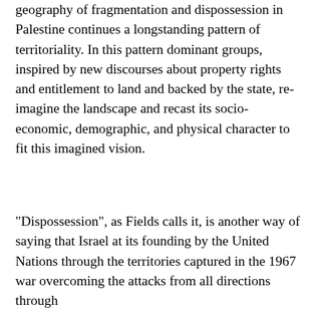geography of fragmentation and dispossession in Palestine continues a longstanding pattern of territoriality. In this pattern dominant groups, inspired by new discourses about property rights and entitlement to land and backed by the state, re-imagine the landscape and recast its socio-economic, demographic, and physical character to fit this imagined vision.
"Dispossession", as Fields calls it, is another way of saying that Israel at its founding by the United Nations through the territories captured in the 1967 war overcoming the attacks from all directions through